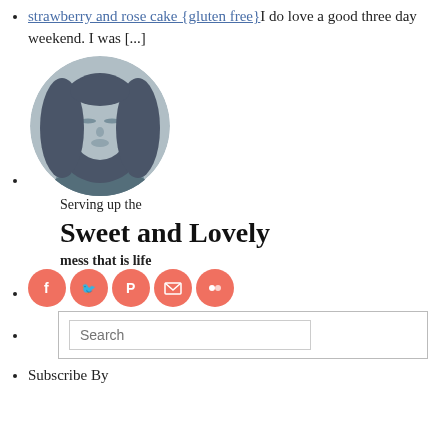strawberry and rose cake {gluten free} I do love a good three day weekend. I was [...]
[Figure (photo): Circular profile photo of a woman with long dark hair, eyes closed, in a blue-toned filter]
Serving up the
Sweet and Lovely
mess that is life
[social icons: Facebook, Twitter, Pinterest, Email, Flickr]
[Search box]
Subscribe By